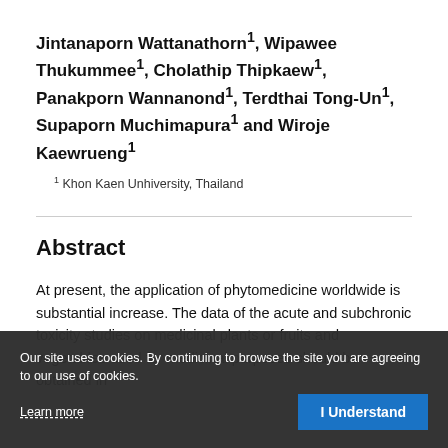Jintanaporn Wattanathorn1, Wipawee Thukummee1, Cholathip Thipkaew1, Panakporn Wannanond1, Terdthai Tong-Un1, Supaporn Muchimapura1 and Wiroje Kaewrueng1
1 Khon Kaen Unhiversity, Thailand
Abstract
At present, the application of phytomedicine worldwide is substantial increase. The data of the acute and subchronic toxicity studies on medicinal plants or fruits and vegetables used for medicinal purposes should be obtained in